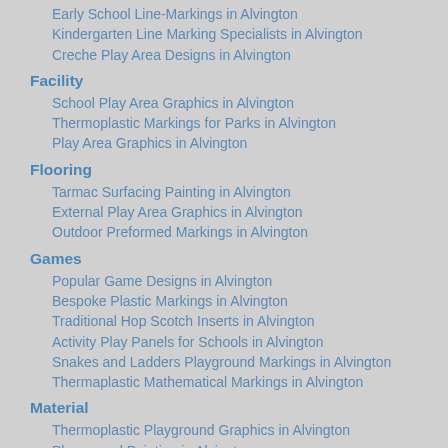Early School Line-Markings in Alvington
Kindergarten Line Marking Specialists in Alvington
Creche Play Area Designs in Alvington
Facility
School Play Area Graphics in Alvington
Thermoplastic Markings for Parks in Alvington
Play Area Graphics in Alvington
Flooring
Tarmac Surfacing Painting in Alvington
External Play Area Graphics in Alvington
Outdoor Preformed Markings in Alvington
Games
Popular Game Designs in Alvington
Bespoke Plastic Markings in Alvington
Traditional Hop Scotch Inserts in Alvington
Activity Play Panels for Schools in Alvington
Snakes and Ladders Playground Markings in Alvington
Thermaplastic Mathematical Markings in Alvington
Material
Thermoplastic Playground Graphics in Alvington
Playground Painting in Alvington
Social Distancing Graphics